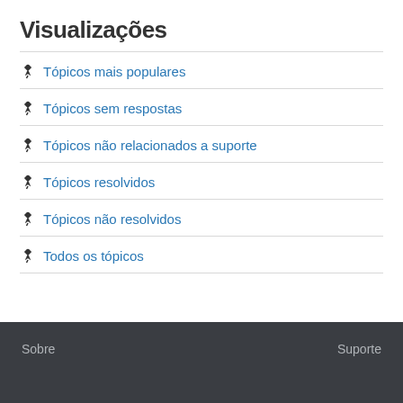Visualizações
Tópicos mais populares
Tópicos sem respostas
Tópicos não relacionados a suporte
Tópicos resolvidos
Tópicos não resolvidos
Todos os tópicos
Sobre    Suporte